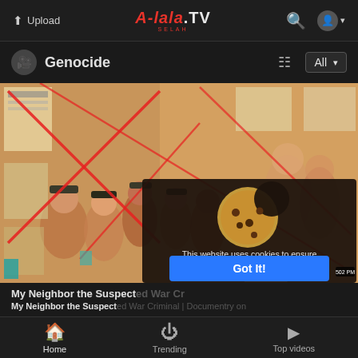Upload | A-lala.TV SELAH | Search | User
🎥 Genocide  All ▾
[Figure (screenshot): Illustrated artwork showing crowd scene with red X marks overlaid; partially covered by cookie consent popup showing a cookie icon. Cookie popup text: 'This website uses cookies to ensure you get the best experience on our website. Learn More' with 'Got It!' button.]
My Neighbor the Suspect ed War Criminal | Documentry on
Home  Trending  Top videos